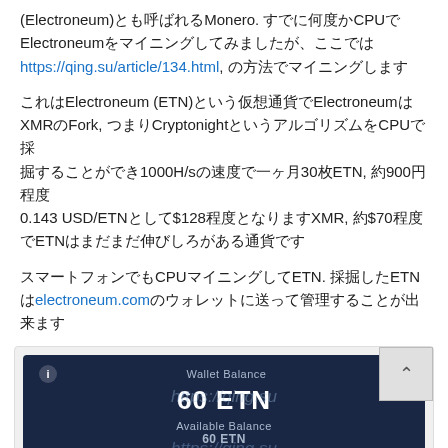(Electroneum)とも呼ばれるMonero. すでに何度かCPUでElectroneumをマイニングしてみましたが、ここでは https://qing.su/article/134.html, の方法でマイニングします
これはElectroneum (ETN)という仮想通貨でElectroneumはXMRのFork, つまりCryptonightというアルゴリズムをCPU採掘することができ1000H/sの速度で一ヶ月30枚ETN, 約900円程度0.143 USD/ETNとして$128程度となりますXMR, 約$70程度でETNはまだまだ伸びしろがある通貨です
スマートフォンでもCPUマイニングしてETNに. 採掘したETNはelectroneum.comのウォレットに送って管理することが出来ます
[Figure (screenshot): Screenshot of Electroneum wallet app showing Wallet Balance of 60 ETN and Available Balance of 60 ETN on a dark navy background, with a watermark https://qing.su overlaid]